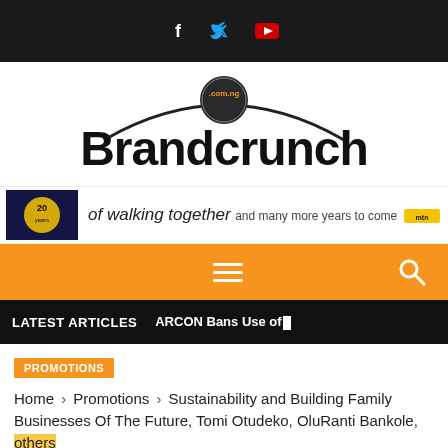Social icons: Facebook, Twitter, YouTube
[Figure (logo): Brandcrunch.com.ng logo — a bold black wordmark 'Brandcrunch' with a curved arch above and '.com.ng' in an orange-highlighted circle]
[Figure (photo): Banner advertisement: MTN 'of walking together and many more years to come' — thumbnail image on left with yellow/blue graphic, text in middle, MTN logo on right]
Navigation bar with hamburger menu and search icon
LATEST ARTICLES   ARCON Bans Use of|
PROMOTIONS
Home › Promotions › Sustainability and Building Family Businesses Of The Future, Tomi Otudeko, OluRanti Bankole, others